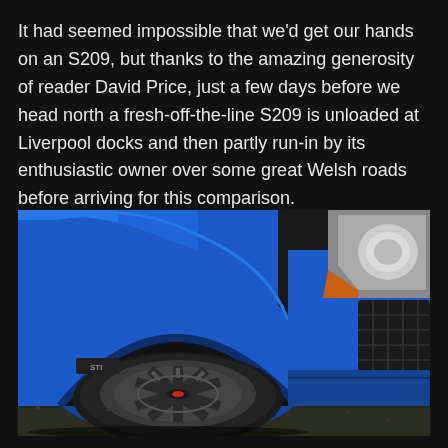It had seemed impossible that we'd get our hands on an S209, but thanks to the amazing generosity of reader David Price, just a few days before we head north a fresh-off-the-line S209 is unloaded at Liverpool docks and then partly run-in by its enthusiastic owner over some great Welsh roads before arriving for this comparison.
[Figure (photo): Close-up photo of a blue Subaru WRX STI S209, focusing on the front wheel with a dark multi-spoke alloy wheel, wide fender flare, and front bumper with grille visible on the right. The car is photographed from a low angle on what appears to be a gravel surface.]